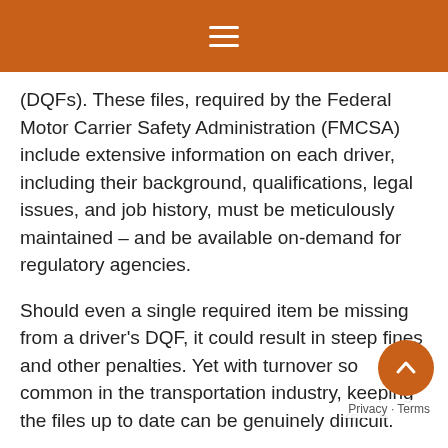≡
(DQFs). These files, required by the Federal Motor Carrier Safety Administration (FMCSA) include extensive information on each driver, including their background, qualifications, legal issues, and job history, must be meticulously maintained – and be available on-demand for regulatory agencies.
Should even a single required item be missing from a driver's DQF, it could result in steep fines and other penalties. Yet with turnover so common in the transportation industry, keeping the files up to date can be genuinely difficult.
That's why it's time for operations to abandon paper based DQFs. The regulatory burden is simply too high, and the penalties too damaging, to risk paper-based errors. A good